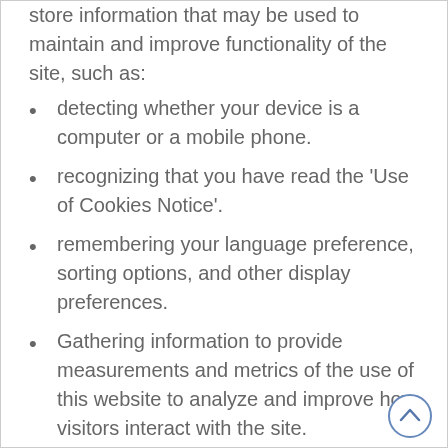store information that may be used to maintain and improve functionality of the site, such as:
detecting whether your device is a computer or a mobile phone.
recognizing that you have read the 'Use of Cookies Notice'.
remembering your language preference, sorting options, and other display preferences.
Gathering information to provide measurements and metrics of the use of this website to analyze and improve how visitors interact with the site.